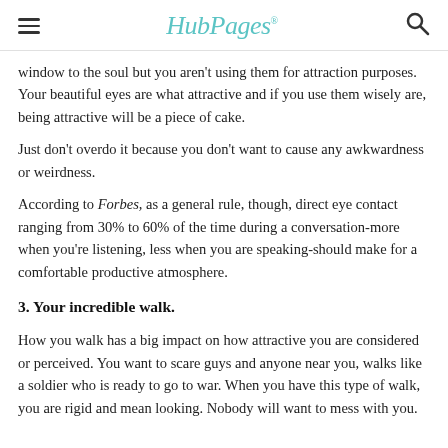HubPages
window to the soul but you aren't using them for attraction purposes. Your beautiful eyes are what attractive and if you use them wisely are, being attractive will be a piece of cake.
Just don't overdo it because you don't want to cause any awkwardness or weirdness.
According to Forbes, as a general rule, though, direct eye contact ranging from 30% to 60% of the time during a conversation-more when you're listening, less when you are speaking-should make for a comfortable productive atmosphere.
3. Your incredible walk.
How you walk has a big impact on how attractive you are considered or perceived. You want to scare guys and anyone near you, walks like a soldier who is ready to go to war. When you have this type of walk, you are rigid and mean looking. Nobody will want to mess with you.